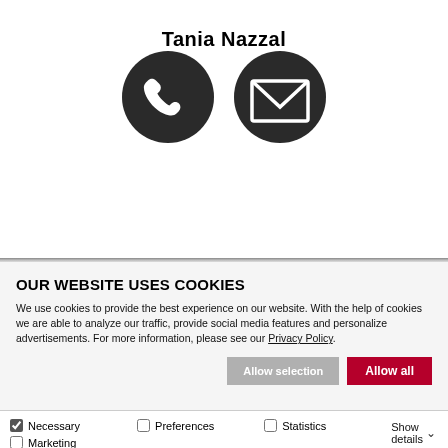Tania Nazzal
[Figure (illustration): Two dark circular icons: a phone/call icon on the left and an email/envelope icon on the right]
OUR WEBSITE USES COOKIES
We use cookies to provide the best experience on our website. With the help of cookies we are able to analyze our traffic, provide social media features and personalize advertisements. For more information, please see our Privacy Policy.
Allow selection | Allow all
Necessary  Preferences  Statistics  Marketing  Show details